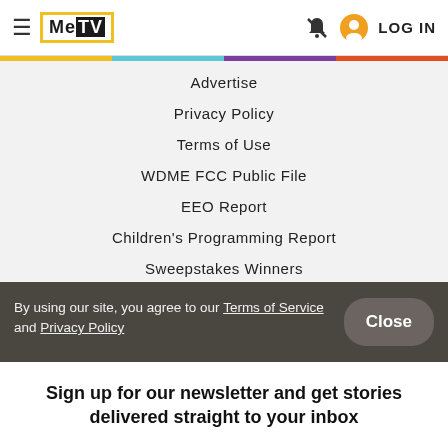MeTV | LOG IN
Advertise
Privacy Policy
Terms of Use
WDME FCC Public File
EEO Report
Children's Programming Report
Sweepstakes Winners
Do Not Sell My Information – CA Residents
By using our site, you agree to our Terms of Service and Privacy Policy
Sign up for our newsletter and get stories delivered straight to your inbox